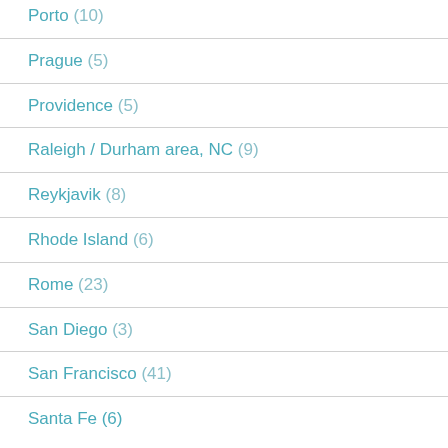Porto (10)
Prague (5)
Providence (5)
Raleigh / Durham area, NC (9)
Reykjavik (8)
Rhode Island (6)
Rome (23)
San Diego (3)
San Francisco (41)
Santa Fe (6)